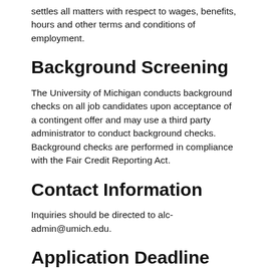settles all matters with respect to wages, benefits, hours and other terms and conditions of employment.
Background Screening
The University of Michigan conducts background checks on all job candidates upon acceptance of a contingent offer and may use a third party administrator to conduct background checks.  Background checks are performed in compliance with the Fair Credit Reporting Act.
Contact Information
Inquiries should be directed to alc-admin@umich.edu.
Application Deadline
The deadline for applications is June 6, 2022 and review of applications will continue until the position is filled.